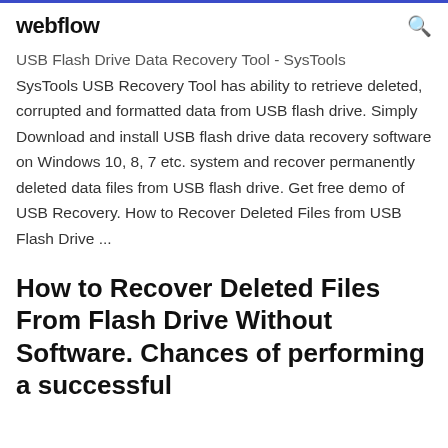webflow
USB Flash Drive Data Recovery Tool - SysTools
SysTools USB Recovery Tool has ability to retrieve deleted, corrupted and formatted data from USB flash drive. Simply Download and install USB flash drive data recovery software on Windows 10, 8, 7 etc. system and recover permanently deleted data files from USB flash drive. Get free demo of USB Recovery. How to Recover Deleted Files from USB Flash Drive ...
How to Recover Deleted Files From Flash Drive Without Software. Chances of performing a successful